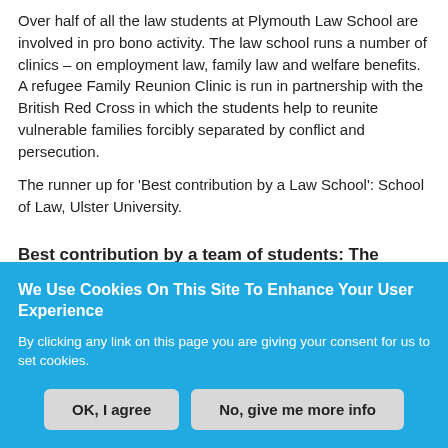Over half of all the law students at Plymouth Law School are involved in pro bono activity. The law school runs a number of clinics – on employment law, family law and welfare benefits. A refugee Family Reunion Clinic is run in partnership with the British Red Cross in which the students help to reunite vulnerable families forcibly separated by conflict and persecution.

The runner up for 'Best contribution by a Law School': School of Law, Ulster University.
Best contribution by a team of students: The Birmingham Free Legal Advice Group Coordinators (FLAG), University of Birmingham
We Use Cookies On This Site To Enhance Your User Experience
By clicking any link on this page you are giving your consent for us to set cookies.